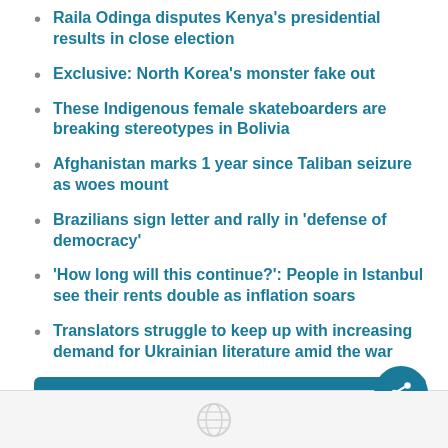Raila Odinga disputes Kenya's presidential results in close election
Exclusive: North Korea's monster fake out
These Indigenous female skateboarders are breaking stereotypes in Bolivia
Afghanistan marks 1 year since Taliban seizure as woes mount
Brazilians sign letter and rally in 'defense of democracy'
'How long will this continue?': People in Istanbul see their rents double as inflation soars
Translators struggle to keep up with increasing demand for Ukrainian literature amid the war
More stories >